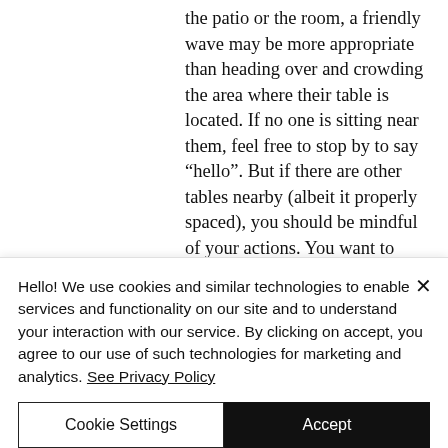the patio or the room, a friendly wave may be more appropriate than heading over and crowding the area where their table is located. If no one is sitting near them, feel free to stop by to say “hello”. But if there are other tables nearby (albeit it properly spaced), you should be mindful of your actions. You want to avoid making others uncomfortable by crowding their area. Social distance
Hello! We use cookies and similar technologies to enable services and functionality on our site and to understand your interaction with our service. By clicking on accept, you agree to our use of such technologies for marketing and analytics. See Privacy Policy
Cookie Settings
Accept